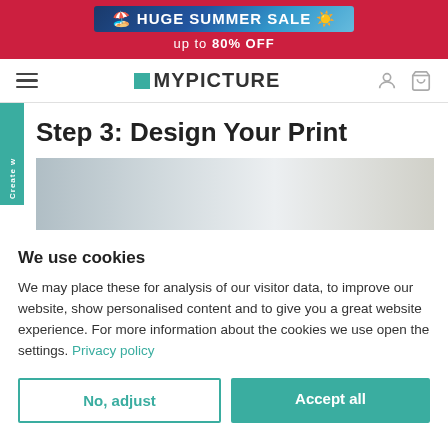[Figure (screenshot): Red promotional banner with 'HUGE SUMMER SALE' text on blue badge and 'up to 80% OFF' below]
MYPICTURE navigation header with hamburger menu, logo, user icon, and cart icon
Step 3: Design Your Print
[Figure (photo): Partial photo of a laptop keyboard and wooden surface]
We use cookies
We may place these for analysis of our visitor data, to improve our website, show personalised content and to give you a great website experience. For more information about the cookies we use open the settings. Privacy policy
No, adjust | Accept all